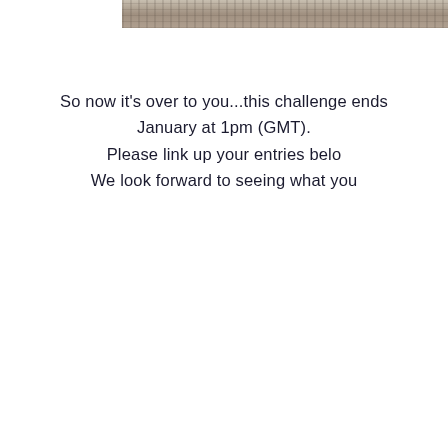[Figure (photo): Partial photograph strip at the top of the page showing a textured outdoor/natural scene, cropped at the top edge.]
So now it's over to you...this challenge ends January at 1pm (GMT). Please link up your entries below. We look forward to seeing what you